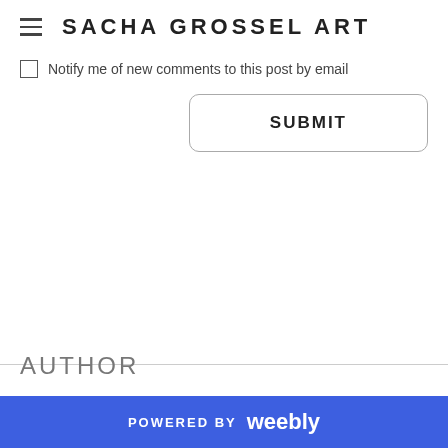SACHA GROSSEL ART
Notify me of new comments to this post by email
SUBMIT
AUTHOR
POWERED BY weebly